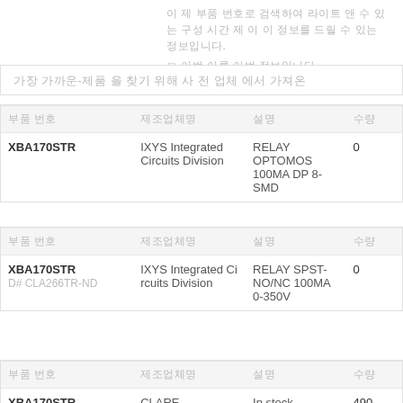이 제 부품 번호로 검색하여 라이트 앤 수 있는 구성 시간 제 이 정보를 드릴 수 있는 정보입니다.
가장 가까운-제품 을 찾기 위해 사 전 업체 에서 가져온
| 부품 번호 | 제조업체명 | 설명 | 수량 |
| --- | --- | --- | --- |
| XBA170STR | IXYS Integrated Circuits Division | RELAY OPTOMOS 100MA DP 8-SMD | 0 |
| 부품 번호 | 제조업체명 | 설명 | 수량 |
| --- | --- | --- | --- |
| XBA170STR
D# CLA266TR-ND | IXYS Integrated Circuits Division | RELAY SPST-NO/NC 100MA 0-350V | 0 |
| 부품 번호 | 제조업체명 | 설명 | 수량 |
| --- | --- | --- | --- |
| XBA170STR | CLARE | In stock | 490 |